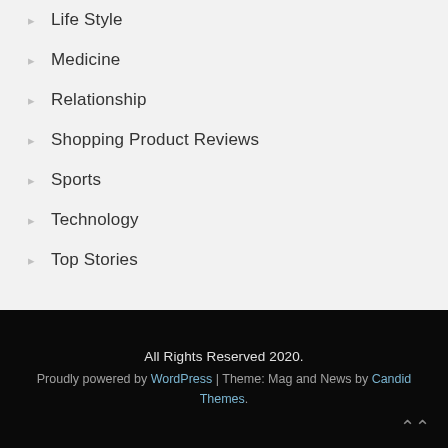Life Style
Medicine
Relationship
Shopping Product Reviews
Sports
Technology
Top Stories
All Rights Reserved 2020. Proudly powered by WordPress | Theme: Mag and News by Candid Themes.